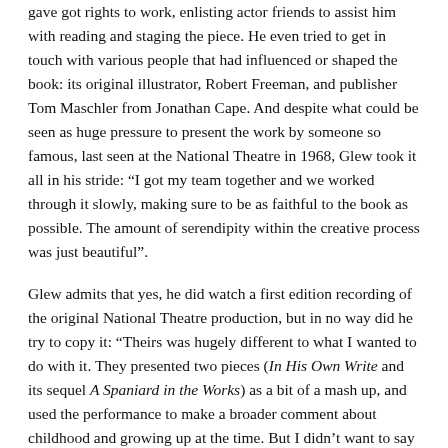gave got rights to work, enlisting actor friends to assist him with reading and staging the piece. He even tried to get in touch with various people that had influenced or shaped the book: its original illustrator, Robert Freeman, and publisher Tom Maschler from Jonathan Cape. And despite what could be seen as huge pressure to present the work by someone so famous, last seen at the National Theatre in 1968, Glew took it all in his stride: “I got my team together and we worked through it slowly, making sure to be as faithful to the book as possible. The amount of serendipity within the creative process was just beautiful”.
Glew admits that yes, he did watch a first edition recording of the original National Theatre production, but in no way did he try to copy it: “Theirs was hugely different to what I wanted to do with it. They presented two pieces (In His Own Write and its sequel A Spaniard in the Works) as a bit of a mash up, and used the performance to make a broader comment about childhood and growing up at the time. But I didn’t want to say anything, rather let the work speak for itself”.